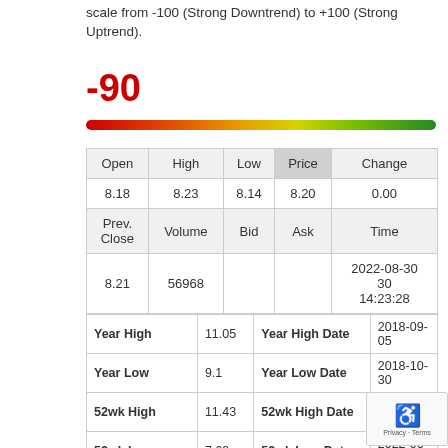scale from -100 (Strong Downtrend) to +100 (Strong Uptrend).
[Figure (infographic): -90 score displayed in red large text above a red-to-green gradient color bar gauge]
| Open | High | Low | Price | Change |
| --- | --- | --- | --- | --- |
| 8.18 | 8.23 | 8.14 | 8.20 | 0.00 |
| Prev. Close | Volume | Bid | Ask | Time |
| 8.21 | 56968 |  |  | 2022-08-30 14:23:28 |
| Year High | 11.05 | Year High Date | 2018-09-05 |
| Year Low | 9.1 | Year Low Date | 2018-10-30 |
| 52wk High | 11.43 | 52wk High Date | 2021-11-11 |
| 52wk Low | 7.69 | 52wk Low Date | 2022-06-16 |
| Year End Close | 11.28 | Average Volume | 53,942 |
| Shares | 18,507 | Market Cap | 351M |